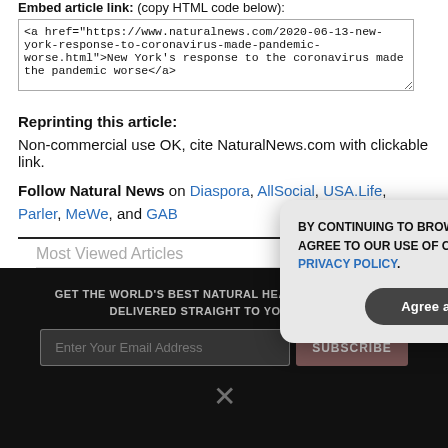Embed article link: (copy HTML code below):
<a href="https://www.naturalnews.com/2020-06-13-new-york-response-to-coronavirus-made-pandemic-worse.html">New York's response to the coronavirus made the pandemic worse</a>
Reprinting this article:
Non-commercial use OK, cite NaturalNews.com with clickable link.
Follow Natural News on Diaspora, AllSocial, USA.Life, Parler, MeWe, and GAB
Most Viewed Articles
GET THE WORLD'S BEST NATURAL HEALTH NEWSLETTER DELIVERED STRAIGHT TO YOUR INBOX
Enter Your Email Address
SUBSCRIBE
BY CONTINUING TO BROWSE OUR SITE YOU AGREE TO OUR USE OF COOKIES AND OUR PRIVACY POLICY.
Agree and close